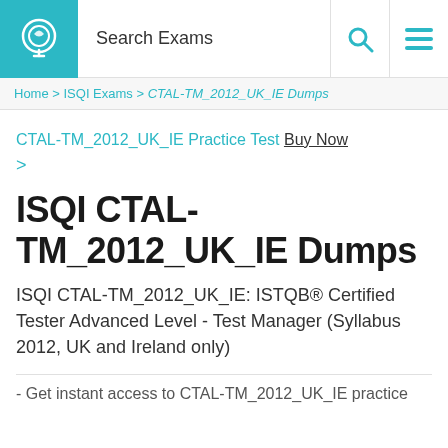Search Exams
Home > ISQI Exams > CTAL-TM_2012_UK_IE Dumps
CTAL-TM_2012_UK_IE Practice Test Buy Now >
ISQI CTAL-TM_2012_UK_IE Dumps
ISQI CTAL-TM_2012_UK_IE: ISTQB® Certified Tester Advanced Level - Test Manager (Syllabus 2012, UK and Ireland only)
- Get instant access to CTAL-TM_2012_UK_IE practice